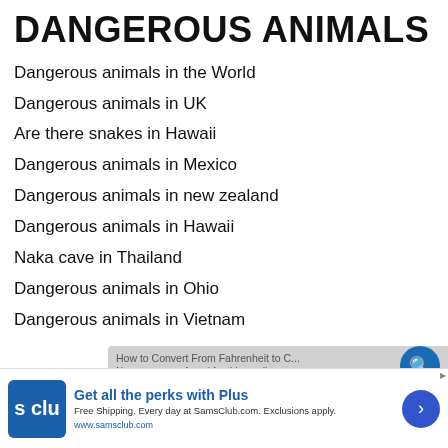DANGEROUS ANIMALS
Dangerous animals in the World
Dangerous animals in UK
Are there snakes in Hawaii
Dangerous animals in Mexico
Dangerous animals in new zealand
Dangerous animals in Hawaii
Naka cave in Thailand
Dangerous animals in Ohio
Dangerous animals in Vietnam